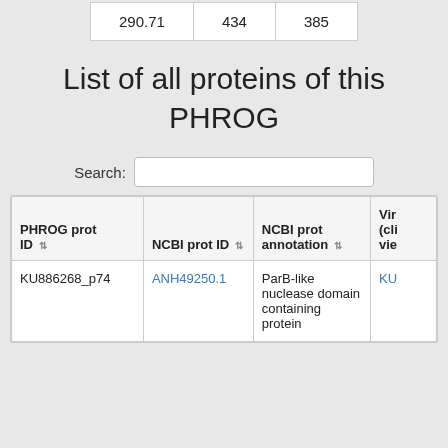| 290.71 | 434 | 385 |
List of all proteins of this PHROG
Search:
| PHROG prot ID | NCBI prot ID | NCBI prot annotation | Vir (cli vie |
| --- | --- | --- | --- |
| KU886268_p74 | ANH49250.1 | ParB-like nuclease domain containing protein | KU |